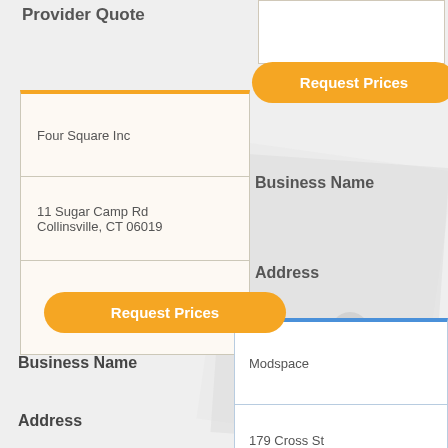Provider Quote
Request Prices
Business Name
Address
Provider Quote
| Four Square Inc |
| 11 Sugar Camp Rd
Collinsville, CT 06019 |
|  |
Request Prices
Business Name
Address
| Modspace |
| 179 Cross St
Bristol, CT 06010 |